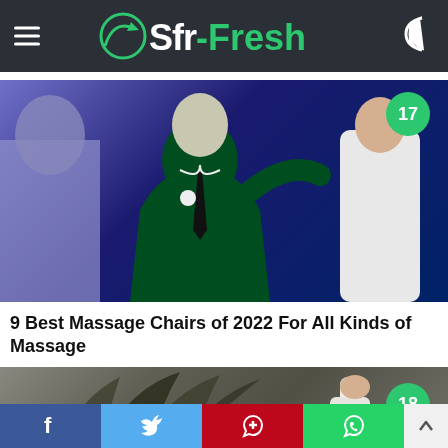Sfr-Fresh
[Figure (photo): Black and white duotone image (green/blue tones) of a man in a suit sitting in a chair, with another person in white behind him, number badge 17 in teal circle top right]
9 Best Massage Chairs of 2022 For All Kinds of Massage
[Figure (photo): Partial image showing what appears to be a massage gun device with foliage in the background, number badge 18 in teal circle top right]
f  (Twitter bird)  P  (WhatsApp)  ↑